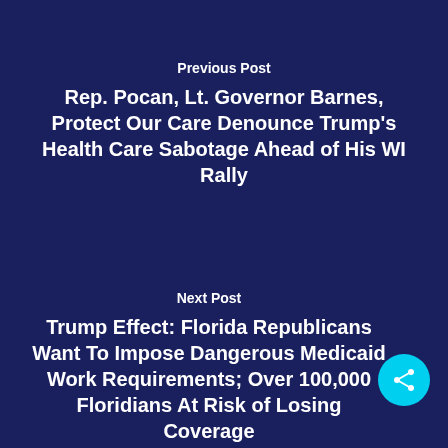Previous Post
Rep. Pocan, Lt. Governor Barnes, Protect Our Care Denounce Trump's Health Care Sabotage Ahead of His WI Rally
Next Post
Trump Effect: Florida Republicans Want To Impose Dangerous Medicaid Work Requirements; Over 100,000 Floridians At Risk of Losing Coverage